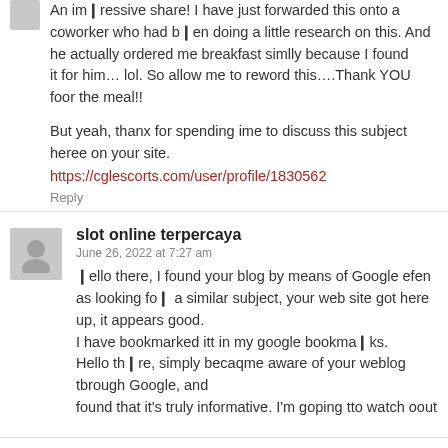An impressive share! I have just forwarded this onto a coworker who had been doing a little research on this. And he actually ordered me breakfast simlly because I found
it for him… lol. So allow me to reword this….Thank YOU foor the meal!!

But yeah, thanx for spending ime to discuss this subject heree on your site.
https://cglescorts.com/user/profile/1830562

Reply
slot online terpercaya
June 26, 2022 at 7:27 am
Hello there, I found your blog by means of Google efen as looking for a similar subject, your web site got here up, it appears good.
I have bookmarked itt in my google bookmarks.
Hello there, simply becaqme aware of your weblog through Google, and
found that it's truly informative. I'm going tto watch oout